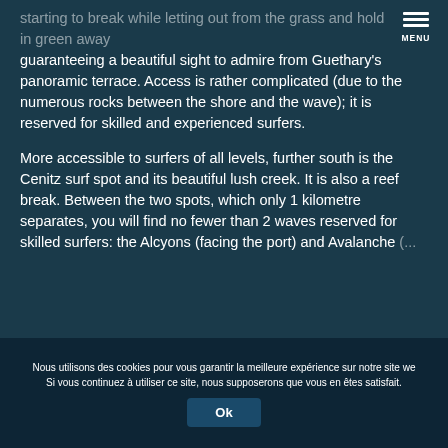MENU
starting to break while letting out from the grass and holds out in green away guaranteeing a beautiful sight to admire from Guethary's panoramic terrace. Access is rather complicated (due to the numerous rocks between the shore and the wave); it is reserved for skilled and experienced surfers.
More accessible to surfers of all levels, further south is the Cenitz surf spot and its beautiful lush creek. It is also a reef break. Between the two spots, which only 1 kilometre separates, you will find no fewer than 2 waves reserved for skilled surfers: the Alcyons (facing the port) and Avalanche (faded/cut off)
Nous utilisons des cookies pour vous garantir la meilleure expérience sur notre site we Si vous continuez à utiliser ce site, nous supposerons que vous en êtes satisfait.